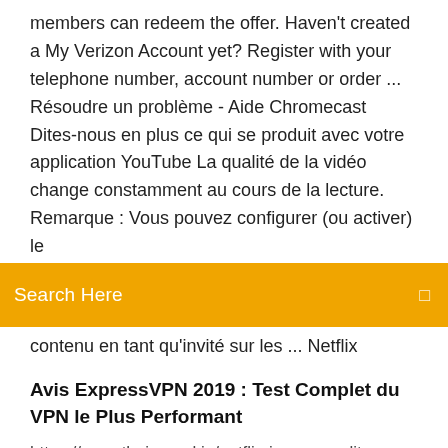members can redeem the offer. Haven't created a My Verizon Account yet? Register with your telephone number, account number or order ... Résoudre un problème - Aide Chromecast Dites-nous en plus ce qui se produit avec votre application YouTube La qualité de la vidéo change constamment au cours de la lecture. Remarque : Vous pouvez configurer (ou activer) le
[Figure (screenshot): Orange search bar with text 'Search Here' and a small icon on the right]
contenu en tant qu'invité sur les ... Netflix
Avis ExpressVPN 2019 : Test Complet du VPN le Plus Performant
https://www.thejournal.ie/netflix-image-quality-2785897-May2016/ https://www.androidpit.fr/choses-a-savoir-sur-netflix https://forums.tomsguide.com/faq/how-to-configure-netflix-to-output-high-quality-videos.212428/ https://www.techadvisor.fr/long-format/maison-connectee/netflix-prix-3681588/ https://www.insider.com/netflix-